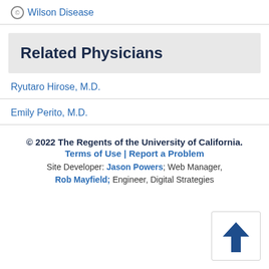Wilson Disease
Related Physicians
Ryutaro Hirose, M.D.
Emily Perito, M.D.
© 2022 The Regents of the University of California. Terms of Use | Report a Problem Site Developer: Jason Powers; Web Manager, Rob Mayfield; Engineer, Digital Strategies